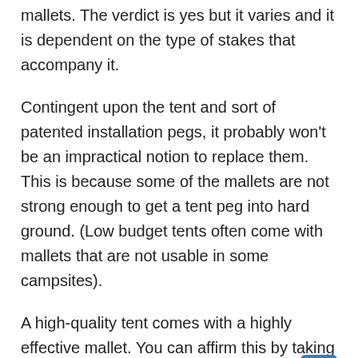mallets. The verdict is yes but it varies and it is dependent on the type of stakes that accompany it.
Contingent upon the tent and sort of patented installation pegs, it probably won't be an impractical notion to replace them. This is because some of the mallets are not strong enough to get a tent peg into hard ground. (Low budget tents often come with mallets that are not usable in some campsites).
A high-quality tent comes with a highly effective mallet. You can affirm this by taking a